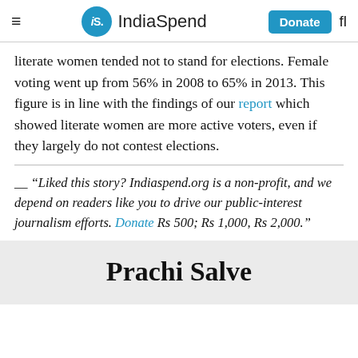IS. IndiaSpend  Donate  fl
literate women tended not to stand for elections. Female voting went up from 56% in 2008 to 65% in 2013. This figure is in line with the findings of our report which showed literate women are more active voters, even if they largely do not contest elections.
__ “Liked this story? Indiaspend.org is a non-profit, and we depend on readers like you to drive our public-interest journalism efforts. Donate Rs 500; Rs 1,000, Rs 2,000.”
Prachi Salve